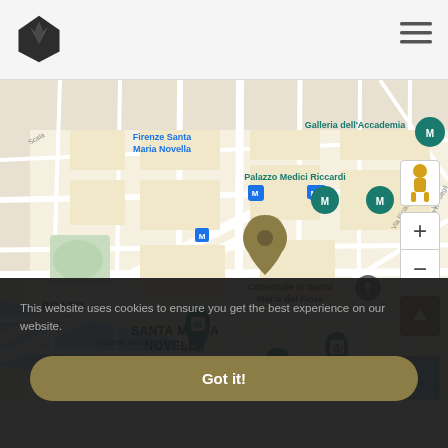[Figure (screenshot): Navigation bar with a dark diamond-shaped logo icon on the left and hamburger menu icon (three horizontal lines) on the right, on a light gray background.]
[Figure (map): Google Maps view of Florence (Firenze), Italy, centered on the Santa Maria Novella district. Visible landmarks include: Firenze Santa Maria Novella (train station), Galleria dell'Accademia, Palazzo Medici Riccardi, Cattedrale di Santa Maria del Fiore, Museo Novecento, Palazzo Strozzi, Piazza della Repubblica, Fontana del Porcellino, Ponte Santa Trinita. A gold/brown map pin marks a central location. Map controls visible on the right: street view person icon, zoom in (+) and zoom out (-) buttons, and a gold back-to-top arrow button. Partial text 'DISTRIC', 'ns of Use', 'de di Fire', 'Sa' visible at edges.]
This website uses cookies to ensure you get the best experience on our website.
Got it!